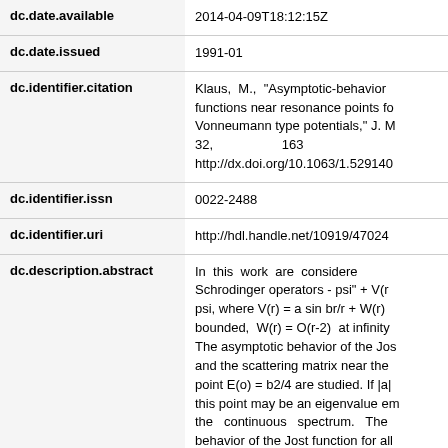| Field | Value |
| --- | --- |
| dc.date.available | 2014-04-09T18:12:15Z |
| dc.date.issued | 1991-01 |
| dc.identifier.citation | Klaus, M., "Asymptotic-behavior functions near resonance points for Vonneumann type potentials," J. M 32,                163 http://dx.doi.org/10.1063/1.529140 |
| dc.identifier.issn | 0022-2488 |
| dc.identifier.uri | http://hdl.handle.net/10919/47024 |
| dc.description.abstract | In this work are considered Schrodinger operators - psi" + V(r) psi, where V(r) = a sin br/r + W(r) bounded, W(r) = O(r-2) at infinity The asymptotic behavior of the Jost and the scattering matrix near the point E(o) = b2/4 are studied. If |a| this point may be an eigenvalue embedded in the continuous spectrum. The behavior of the Jost function for all... |